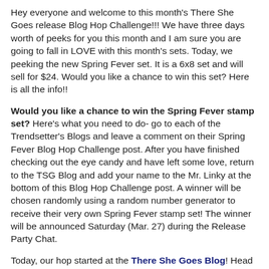Hey everyone and welcome to this month's There She Goes release Blog Hop Challenge!!! We have three days worth of peeks for you this month and I am sure you are going to fall in LOVE with this month's sets. Today, we peeking the new Spring Fever set. It is a 6x8 set and will sell for $24. Would you like a chance to win this set? Here is all the info!!
Would you like a chance to win the Spring Fever stamp set? Here's what you need to do- go to each of the Trendsetter's Blogs and leave a comment on their Spring Fever Blog Hop Challenge post. After you have finished checking out the eye candy and have left some love, return to the TSG Blog and add your name to the Mr. Linky at the bottom of this Blog Hop Challenge post. A winner will be chosen randomly using a random number generator to receive their very own Spring Fever stamp set! The winner will be announced Saturday (Mar. 27) during the Release Party Chat.
Today, our hop started at the There She Goes Blog! Head on over there to get started. If you are back here now, you are at the Jennie's Blog...